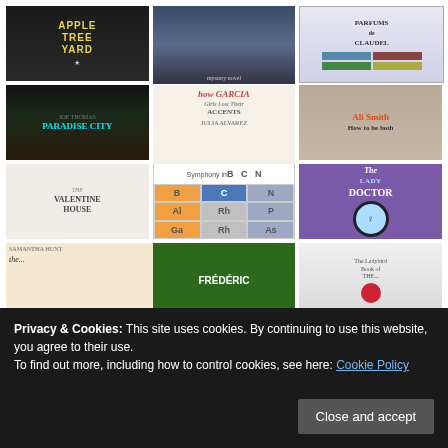[Figure (illustration): Grid of book covers: Apple Tree Yard, mystery novel, Parfums de Claudel, Joe Thomas Paradise City, How Garcia Girls Lost Their Accents by Julia Alvarez, Ali Smith How to be Both, The Valentine House, Symphony in B C N Al Rh P Ga As (periodic table style), The Lady Doctor, Samantha Hunt book, Frederic book, The Ladybird Book of The...]
Privacy & Cookies: This site uses cookies. By continuing to use this website, you agree to their use.
To find out more, including how to control cookies, see here: Cookie Policy
Close and accept